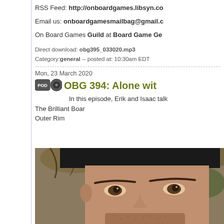RSS Feed: http://onboardgames.libsyn.co
Email us: onboardgamesmailbag@gmail.c
On Board Games Guild at Board Game Ge
Direct download: obg395_033020.mp3
Category: general -- posted at: 10:30am EDT
Mon, 23 March 2020
OBG 394: Alone wit
In this episode, Erik and Isaac talk
The Brilliant Boar
Outer Rim
[Figure (photo): Close-up selfie of a man wearing a dark cap, outdoors with trees and foliage in the background.]